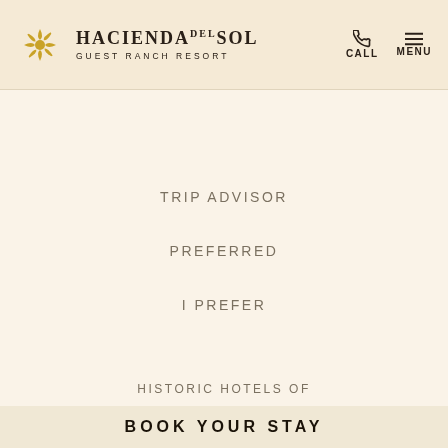HACIENDA DEL SOL GUEST RANCH RESORT | CALL | MENU
TRIP ADVISOR
PREFERRED
I PREFER
HISTORIC HOTELS OF
BOOK YOUR STAY